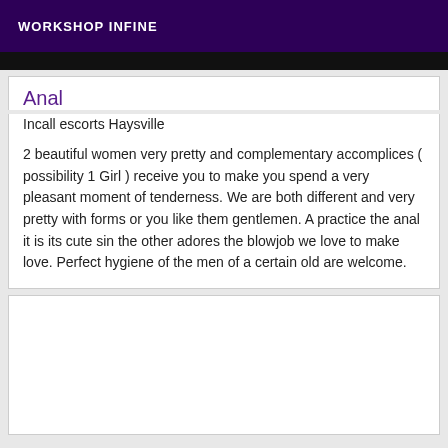WORKSHOP INFINE
Anal
Incall escorts Haysville
2 beautiful women very pretty and complementary accomplices ( possibility 1 Girl ) receive you to make you spend a very pleasant moment of tenderness. We are both different and very pretty with forms or you like them gentlemen. A practice the anal it is its cute sin the other adores the blowjob we love to make love. Perfect hygiene of the men of a certain old are welcome.